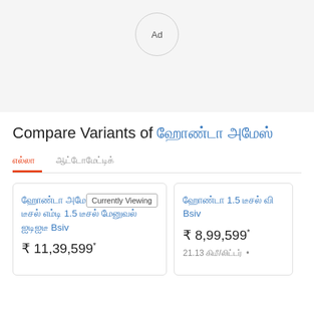[Figure (other): Ad placeholder circle with 'Ad' text in a grey circle on a light grey background]
Compare Variants of ஹோண்டா அமேஸ்
எல்லா | ஆட்டோமேட்டிக்
ஹோண்டா அமேஸ் விஐ 1.5 வி டீசல் எம்டி 1.5 டீசல் மேனுவல் ஐடிஐடீ Bsiv | ₹ 11,39,599*
ஹோண்டா 1.5 டீசல் வி Bsiv | ₹ 8,99,599* | 21.13 கிமீ/லிட்டர்